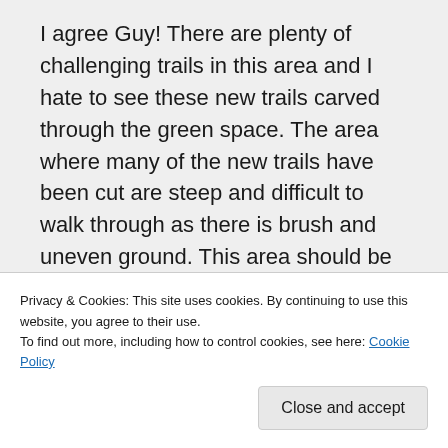I agree Guy! There are plenty of challenging trails in this area and I hate to see these new trails carved through the green space. The area where many of the new trails have been cut are steep and difficult to walk through as there is brush and uneven ground. This area should be kept wild for wildlife. These slopes are just recovering from dredging
Privacy & Cookies: This site uses cookies. By continuing to use this website, you agree to their use.
To find out more, including how to control cookies, see here: Cookie Policy
Close and accept